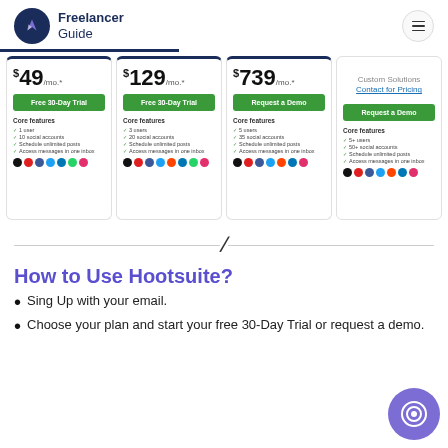Freelancer Guide
[Figure (screenshot): Pricing cards showing $49/mo, $129/mo, $739/mo, and Custom Solutions plans with Free 30-Day Trial and Request a Demo buttons, core features lists, and social platform icons]
/
How to Use Hootsuite?
Sing Up with your email.
Choose your plan and start your free 30-Day Trial or request a demo.